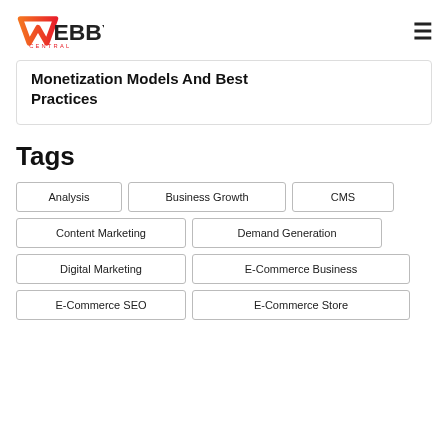Webby Central
Monetization Models And Best Practices
Tags
Analysis
Business Growth
CMS
Content Marketing
Demand Generation
Digital Marketing
E-Commerce Business
E-Commerce SEO
E-Commerce Store